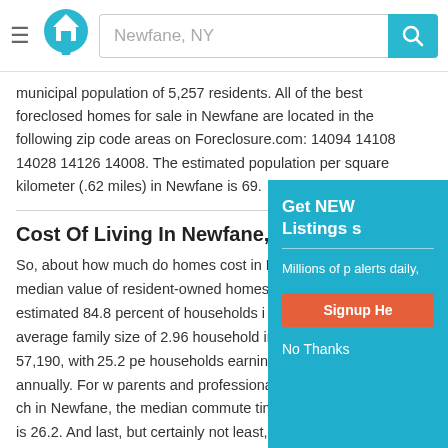Newfane, NY
municipal population of 5,257 residents. All of the best foreclosed homes for sale in Newfane are located in the following zip code areas on Foreclosure.com: 14094 14108 14028 14126 14008. The estimated population per square kilometer (.62 miles) in Newfane is 69.
Cost Of Living In Newfane, NY
So, about how much do homes cost in Newfane? The recent median value of resident-owned homes in Newfane is 115,184. An estimated 84.8 percent of households in Newfane own their homes, with an average family size of 2.96. The household income in Newfane is 57,190, with 25.2 percent of households earning at least $100,000 annually. For working parents and professionals who are searching for cheap homes in Newfane, the median commute time of resident workers (in minutes) is 26.2. And last, but certainly not least, are you looking for homes to rent in Newfane? If so, the average rent price paid by renters in Newfane is 784, according to recent statistics.